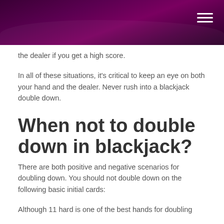the dealer if you get a high score.
In all of these situations, it's critical to keep an eye on both your hand and the dealer. Never rush into a blackjack double down.
When not to double down in blackjack?
There are both positive and negative scenarios for doubling down. You should not double down on the following basic initial cards:
Although 11 hard is one of the best hands for doubling